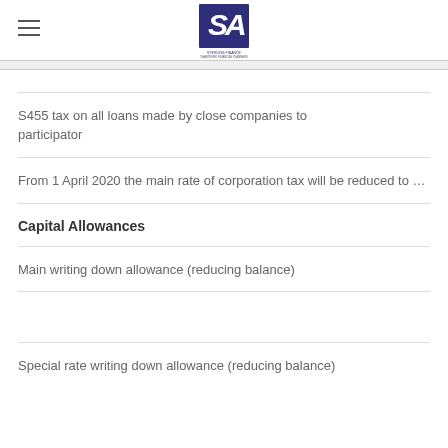Sterling Finance — logo header
S455 tax on all loans made by close companies to participator
From 1 April 2020 the main rate of corporation tax will be reduced to
Capital Allowances
Main writing down allowance (reducing balance)
Special rate writing down allowance (reducing balance)